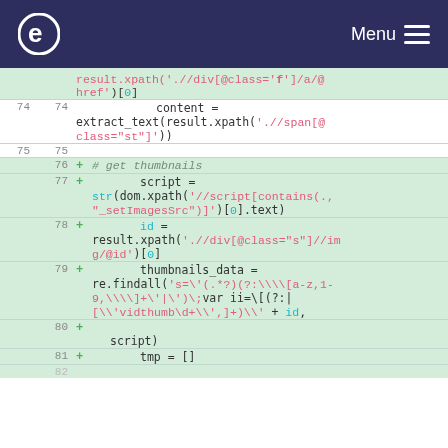e  Menu
[Figure (screenshot): Code diff view showing Python web scraping code lines 73-82. Lines 74-75 show content extraction from xpath. Lines 76-81 are new additions (green background with + signs) getting thumbnails data using script xpath, id, re.findall with complex regex pattern, and tmp = [].]